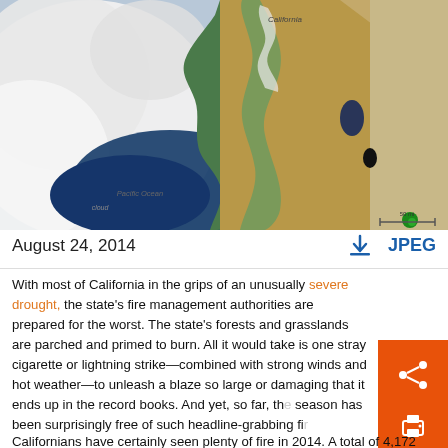[Figure (map): Satellite image of California from space showing the Pacific Ocean on the left with cloud cover, the California coastline, the Sierra Nevada mountains, and surrounding terrain in earth tones. Labels visible: 'California', 'cloud', 'Pacific Ocean'. A scale bar is visible in the lower right.]
August 24, 2014
↓ JPEG
With most of California in the grips of an unusually severe drought, the state's fire management authorities are prepared for the worst. The state's forests and grasslands are parched and primed to burn. All it would take is one stray cigarette or lightning strike—combined with strong winds and hot weather—to unleash a blaze so large or damaging that it ends up in the record books. And yet, so far, the season has been surprisingly free of such headline-grabbing fi…
Californians have certainly seen plenty of fire in 2014. A total of 4,172...